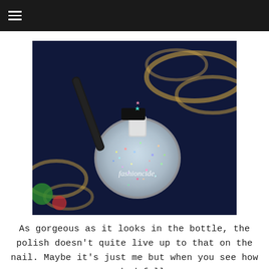≡
[Figure (photo): Close-up photo of a nail polish bottle. The bottle contains clear glitter polish with multicolored glitter pieces inside. A brush is being removed from the bottle showing black nail polish on the brush with teal and pink star-shaped glitter pieces. The background shows a dark blue and gold decorative surface. A watermark reads 'fashioncide,' in white script text.]
As gorgeous as it looks in the bottle, the polish doesn't quite live up to that on the nail. Maybe it's just me but when you see how packed full